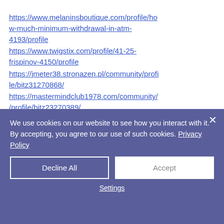https://www.melaninsboutique.com/profile/how-much-minimum-withdrawal-in-atm-4193/profile
https://www.twigstix.com/profile/41-25-frispinov-4150/profile
https://jmeter38.stronazen.pl/community/profile/bitz31270868/
https://mastermindclub1978.com/community//profile/bitz23270389/
[Figure (screenshot): Cookie consent banner overlay with dark purple/blue background, showing cookie usage notice, Privacy Policy link, Decline All and Accept buttons, and Settings link. A close (×) button is in the top right. Above the banner is a dark blue/grey rectangular bar.]